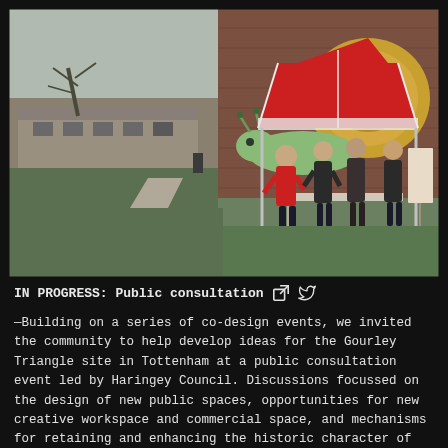[Figure (photo): Outdoor public consultation event at Gourley Triangle site in Tottenham. People stand under a red and white gazebo/tent near a brick wall with a large snail mural painted on it. Green grass areas and a concrete path visible. Overcast day. Low-rise buildings in background.]
IN PROGRESS: Public consultation
—Building on a series of co-design events, we invited the community to help develop ideas for the Gourley Triangle site in Tottenham at a public consultation event led by Haringey Council. Discussions focussed on the design of new public spaces, opportunities for new creative workspace and commercial space, and mechanisms for retaining and enhancing the historic character of the site